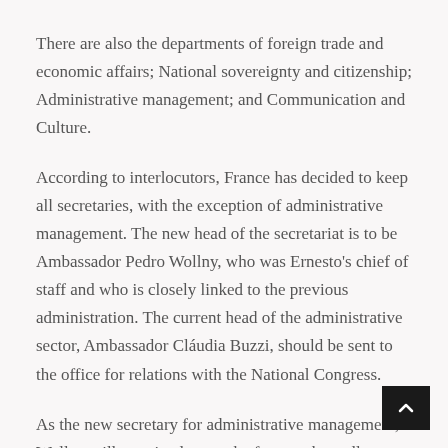There are also the departments of foreign trade and economic affairs; National sovereignty and citizenship; Administrative management; and Communication and Culture.
According to interlocutors, France has decided to keep all secretaries, with the exception of administrative management. The new head of the secretariat is to be Ambassador Pedro Wollny, who was Ernesto's chief of staff and who is closely linked to the previous administration. The current head of the administrative sector, Ambassador Cláudia Buzzi, should be sent to the office for relations with the National Congress.
As the new secretary for administrative management, Wollny will remain close to the former chancellor.